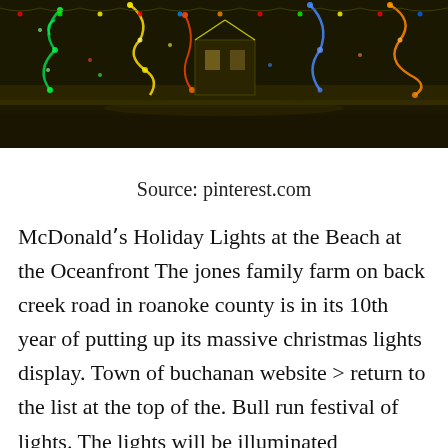[Figure (photo): Night-time photograph of an elaborate outdoor Christmas lights display, showing colorful holiday light decorations including green, red, yellow, and blue lights arranged in shapes against a dark sky. The display appears to be on a farm or large property.]
Source: pinterest.com
McDonald's Holiday Lights at the Beach at the Oceanfront The jones family farm on back creek road in roanoke county is in its 10th year of putting up its massive christmas lights display. Town of buchanan website > return to the list at the top of the. Bull run festival of lights. The lights will be illuminated throughout the holiday season